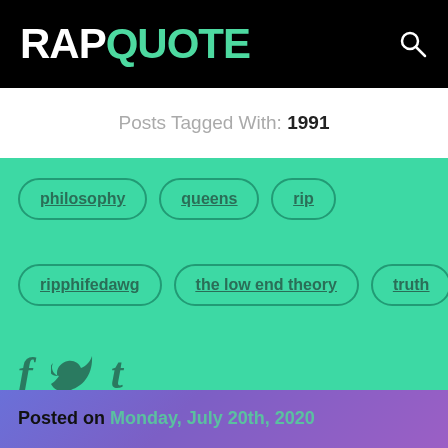RAPQUOTE
Posts Tagged With: 1991
philosophy
queens
rip
ripphifedawg
the low end theory
truth
Posted on Monday, July 20th, 2020